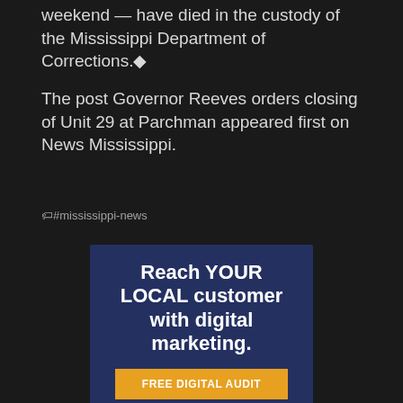weekend — have died in the custody of the Mississippi Department of Corrections.◆
The post Governor Reeves orders closing of Unit 29 at Parchman appeared first on News Mississippi.
#mississippi-news
[Figure (infographic): Advertisement for STMM Digital marketing services with text 'Reach YOUR LOCAL customer with digital marketing.' and a yellow 'FREE DIGITAL AUDIT' button, with the STMM Digital logo at the bottom on a dark blue background with blurred people.]